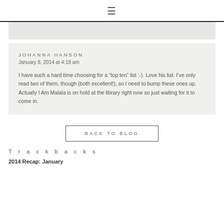≡
JOHANNA HANSON
January 8, 2014 at 4:18 am

I have such a hard time choosing for a “top ten” ilst :-). Love his list. I’ve only read two of them, though (both excellent!), so I need to bump these ones up. Actually I Am Malala is on hold at the library right now so just waiting for it to come in.
BACK TO BLOG
Trackbacks
2014 Recap: January